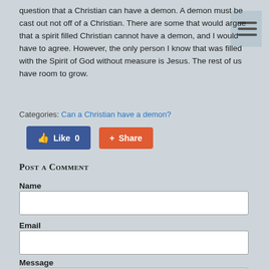question that a Christian can have a demon. A demon must be cast out not off of a Christian. There are some that would argue that a spirit filled Christian cannot have a demon, and I would have to agree. However, the only person I know that was filled with the Spirit of God without measure is Jesus. The rest of us have room to grow.
Categories: Can a Christian have a demon?
[Figure (screenshot): Like button (blue, Facebook style) with count 0 and Share button (orange/red)]
Post a Comment
Name
Email
Message